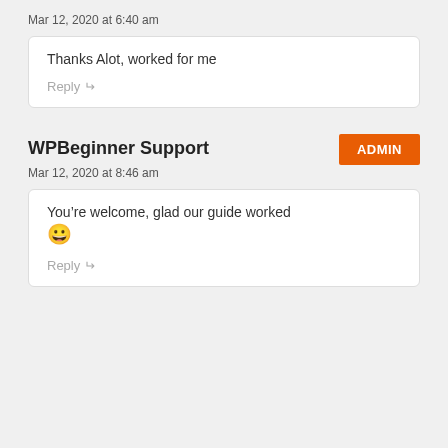Mar 12, 2020 at 6:40 am
Thanks Alot, worked for me
Reply
WPBeginner Support
ADMIN
Mar 12, 2020 at 8:46 am
You’re welcome, glad our guide worked 😀
Reply